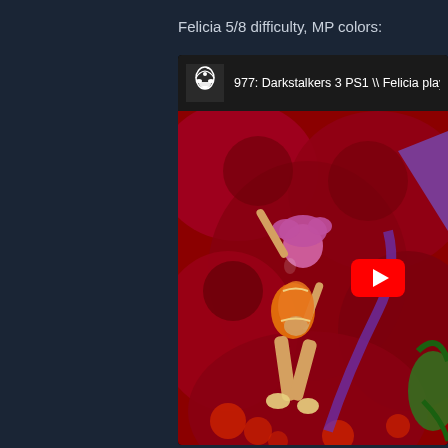Felicia 5/8 difficulty, MP colors:
[Figure (screenshot): YouTube video thumbnail for '977: Darkstalkers 3 PS1 \\ Felicia playth...' showing a fighting game scene with a character in pink/magenta outfit fighting in a red backdrop, with a YouTube play button overlay]